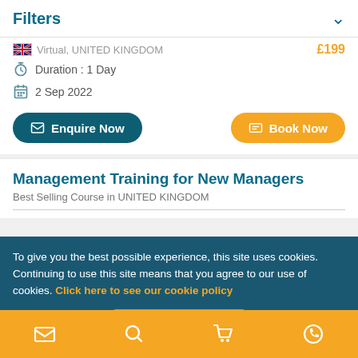Filters
Virtual, UNITED KINGDOM  £199
Duration : 1 Day
2 Sep 2022
Enquire Now
Book Now
Management Training for New Managers
Best Selling Course in UNITED KINGDOM
To give you the best possible experience, this site uses cookies. Continuing to use this site means that you agree to our use of cookies. Click here to see our cookie policy
Ok, I Accept